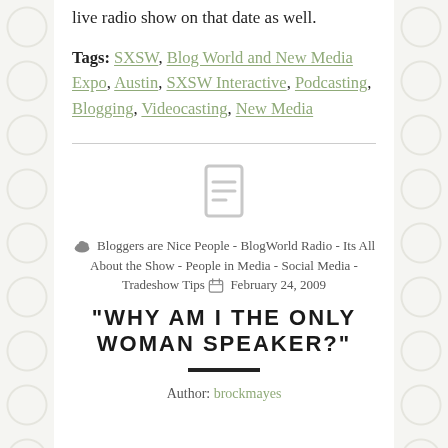live radio show on that date as well.
Tags: SXSW, Blog World and New Media Expo, Austin, SXSW Interactive, Podcasting, Blogging, Videocasting, New Media
[Figure (illustration): Document/post icon in gray]
Bloggers are Nice People - BlogWorld Radio - Its All About the Show - People in Media - Social Media - Tradeshow Tips  February 24, 2009
"WHY AM I THE ONLY WOMAN SPEAKER?"
Author: brockmayes